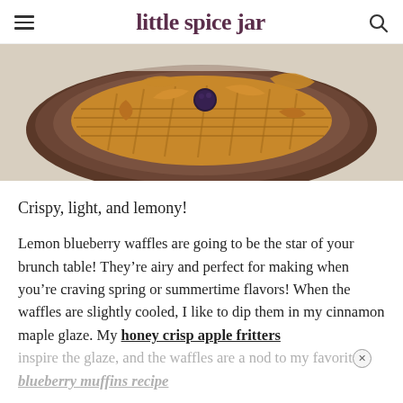little spice jar
[Figure (photo): Top-down view of lemon blueberry waffles on a dark plate with a blueberry visible, golden-brown crispy texture]
Crispy, light, and lemony!
Lemon blueberry waffles are going to be the star of your brunch table! They're airy and perfect for making when you're craving spring or summertime flavors! When the waffles are slightly cooled, I like to dip them in my cinnamon maple glaze. My honey crisp apple fritters inspire the glaze, and the waffles are a nod to my favorite blueberry muffins recipe.